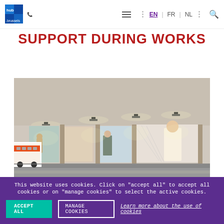hub.brussels | EN | FR | NL
SUPPORT DURING WORKS
[Figure (photo): Interior of an underground bus terminal or tunnel with large illuminated photographic murals on the walls and a bus visible on the left side.]
This website uses cookies. Click on "accept all" to accept all cookies or on "manage cookies" to select the active cookies.
ACCEPT ALL
MANAGE COOKIES
Learn more about the use of cookies